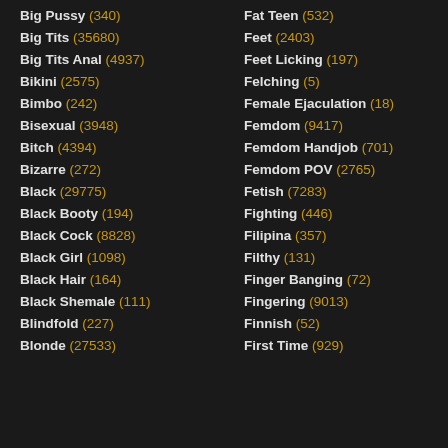Big Pussy (340)
Big Tits (35680)
Big Tits Anal (4937)
Bikini (2575)
Bimbo (242)
Bisexual (3948)
Bitch (4394)
Bizarre (272)
Black (29775)
Black Booty (194)
Black Cock (8828)
Black Girl (1098)
Black Hair (164)
Black Shemale (111)
Blindfold (227)
Blonde (27533)
Fat Teen (532)
Feet (2403)
Feet Licking (197)
Felching (5)
Female Ejaculation (18)
Femdom (9417)
Femdom Handjob (701)
Femdom POV (2765)
Fetish (7283)
Fighting (446)
Filipina (357)
Filthy (131)
Finger Banging (72)
Fingering (9013)
Finnish (52)
First Time (929)